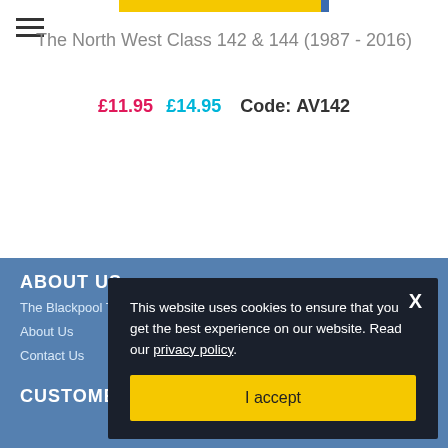[Figure (illustration): Product image top bar with yellow and blue colors]
The North West Class 142 & 144 (1987 - 2016)
£11.95  £14.95   Code: AV142
ABOUT US
The Blackpool T...
About Us
Contact Us
CUSTOMERS
This website uses cookies to ensure that you get the best experience on our website. Read our privacy policy.
I accept